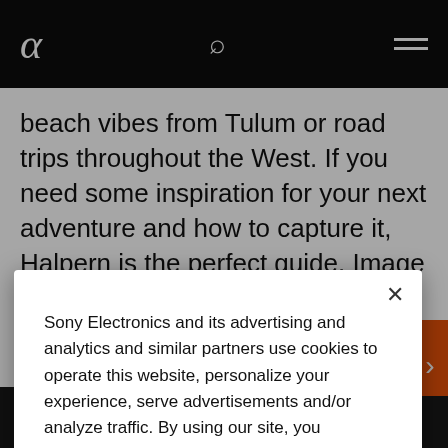Sony Alpha (logo) | search icon | menu
beach vibes from Tulum or road trips throughout the West. If you need some inspiration for your next adventure and how to capture it, Halpern is the perfect guide. Image created with the Sony Alpha 7R II and the Sony 70-200mm f/2.8 G...
Sony Electronics and its advertising and analytics and similar partners use cookies to operate this website, personalize your experience, serve advertisements and/or analyze traffic. By using our site, you acknowledge this notice and agree to the use of cookies on our site and to our Privacy Policy.
Manage Cookies